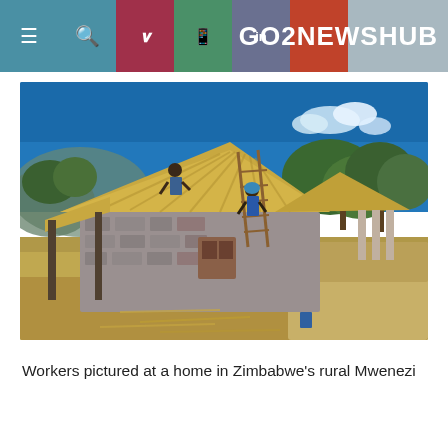GO2NEWSHUB
[Figure (photo): Workers thatching a stone house roof in Zimbabwe's rural Mwenezi. Two workers on a ladder applying thatch to a stone-walled building under a bright blue sky with trees in the background.]
Workers pictured at a home in Zimbabwe's rural Mwenezi